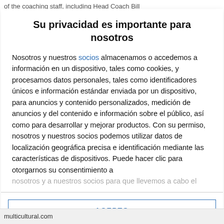of the coaching staff, including Head Coach Bill
Su privacidad es importante para nosotros
Nosotros y nuestros socios almacenamos o accedemos a información en un dispositivo, tales como cookies, y procesamos datos personales, tales como identificadores únicos e información estándar enviada por un dispositivo, para anuncios y contenido personalizados, medición de anuncios y del contenido e información sobre el público, así como para desarrollar y mejorar productos. Con su permiso, nosotros y nuestros socios podemos utilizar datos de localización geográfica precisa e identificación mediante las características de dispositivos. Puede hacer clic para otorgarnos su consentimiento a
nosotros y a nuestros socios para que llevemos a cabo el
ACEPTO
MÁS OPCIONES
multicultural.com